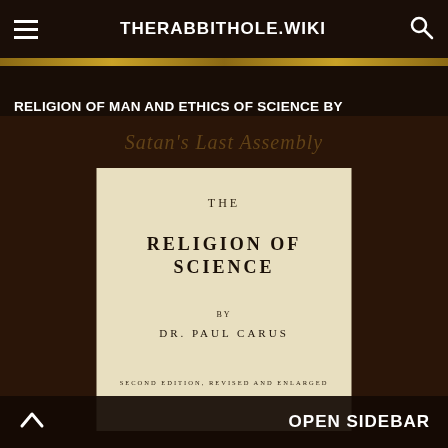THERABBITHOLE.WIKI
RELIGION OF MAN AND ETHICS OF SCIENCE BY HUDSON TUTTLE (1905)
[Figure (photo): Scanned title page of a book reading: THE RELIGION OF SCIENCE by DR. PAUL CARUS, SECOND EDITION, REVISED AND ENLARGED. The page has a parchment/cream color background with a dark brown border area around it.]
OPEN SIDEBAR